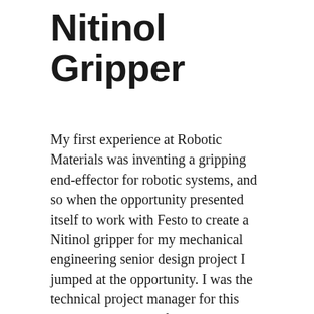Nitinol Gripper
My first experience at Robotic Materials was inventing a gripping end-effector for robotic systems, and so when the opportunity presented itself to work with Festo to create a Nitinol gripper for my mechanical engineering senior design project I jumped at the opportunity. I was the technical project manager for this project, responsible for overseeing the mechanical, electrical, and